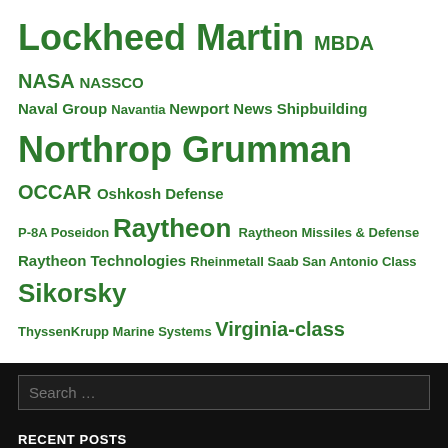Lockheed Martin MBDA NASA NASSCO Naval Group Navantia Newport News Shipbuilding Northrop Grumman OCCAR Oshkosh Defense P-8A Poseidon Raytheon Raytheon Missiles & Defense Raytheon Technologies Rheinmetall Saab San Antonio Class Sikorsky ThyssenKrupp Marine Systems Virginia-class
Search …
RECENT POSTS
Grey Wolf
NOMARS Program